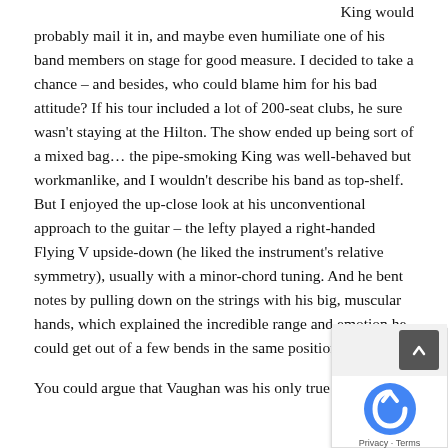King would probably mail it in, and maybe even humiliate one of his band members on stage for good measure. I decided to take a chance – and besides, who could blame him for his bad attitude? If his tour included a lot of 200-seat clubs, he sure wasn't staying at the Hilton. The show ended up being sort of a mixed bag… the pipe-smoking King was well-behaved but workmanlike, and I wouldn't describe his band as top-shelf. But I enjoyed the up-close look at his unconventional approach to the guitar – the lefty played a right-handed Flying V upside-down (he liked the instrument's relative symmetry), usually with a minor-chord tuning. And he bent notes by pulling down on the strings with his big, muscular hands, which explained the incredible range and emotion he could get out of a few bends in the same position.
You could argue that Vaughan was his only true peer,